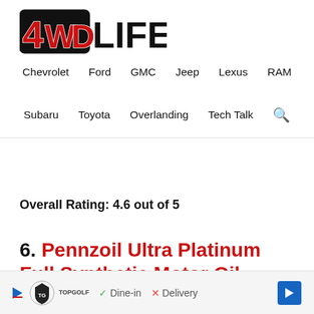[Figure (logo): 4WD LIFE logo with red and black stylized letters]
Chevrolet   Ford   GMC   Jeep   Lexus   RAM   Subaru   Toyota   Overlanding   Tech Talk
Overall Rating: 4.6 out of 5
6. Pennzoil Ultra Platinum Full Synthetic Motor Oil
[Figure (other): Advertisement banner: Topgolf logo, Dine-in checkmark, Delivery X mark, blue arrow button]